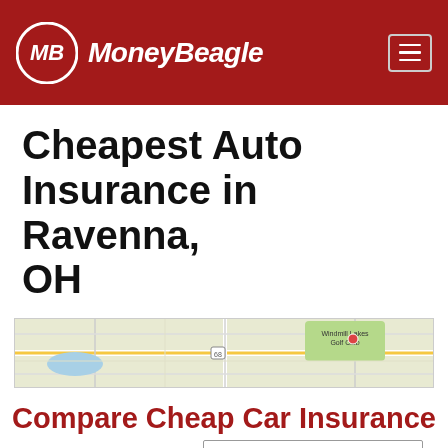[Figure (logo): MoneyBeagle logo with MB in a circle on a dark red header background, with hamburger menu icon on right]
Cheapest Auto Insurance in Ravenna, OH
[Figure (map): Google Maps screenshot showing Ravenna, OH area with Windmill Lakes Golf Club visible]
Compare Cheap Car Insurance Quotes Now
[Figure (other): Enter Zip input field and Get Rates > button]